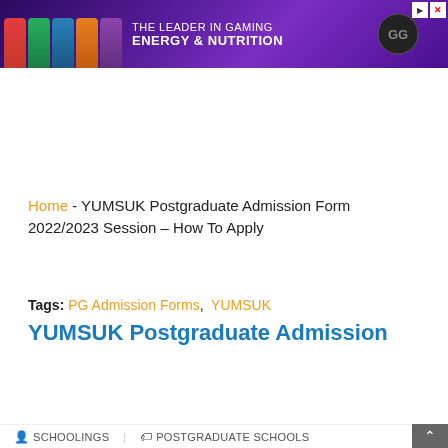[Figure (screenshot): Advertisement banner: 'THE LEADER IN GAMING ENERGY & NUTRITION' with colorful gaming supplement cans on purple background, GG logo, close button top right]
Home - YUMSUK Postgraduate Admission Form 2022/2023 Session – How To Apply
Tags: PG Admission Forms, YUMSUK
YUMSUK Postgraduate Admission
[Figure (screenshot): Advertisement banner: 'THE LEADER IN GAMING ENERGY & NUTRITION' with colorful gaming supplement cans on purple background, GG logo, close button top right]
Schoolings   POSTGRADUATE SCHOOLS